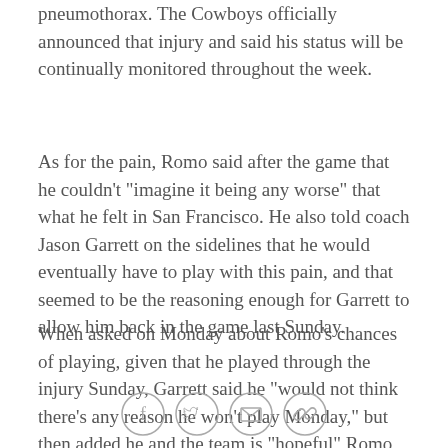pneumothorax. The Cowboys officially announced that injury and said his status will be continually monitored throughout the week.
As for the pain, Romo said after the game that he couldn't "imagine it being any worse" that what he felt in San Francisco. He also told coach Jason Garrett on the sidelines that he would eventually have to play with this pain, and that seemed to be the reasoning enough for Garrett to allow him back in the game last Sunday.
When asked on Monday about Romo's chances of playing, given that he played through the injury Sunday, Garrett said he "would not think there's any reason he won't play Monday," but then added he and the team is "hopeful" Romo will play.
[Figure (other): Social sharing icons: Facebook, Twitter, Email, Link]